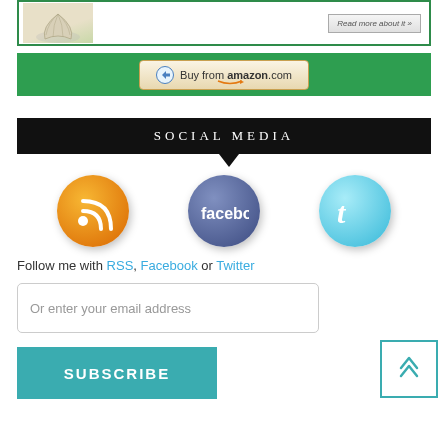[Figure (screenshot): Top partial banner showing book thumbnail with shell illustration and a 'Read more about it' button, bordered in green]
[Figure (screenshot): Green banner with 'Buy from amazon.com' button]
SOCIAL MEDIA
[Figure (infographic): Three social media icons: orange RSS circle, dark blue Facebook circle with 'facebook' text, light blue Twitter circle with 't' bird logo]
Follow me with RSS, Facebook or Twitter
[Figure (screenshot): Email input field with placeholder text 'Or enter your email address']
[Figure (screenshot): Teal SUBSCRIBE button]
[Figure (screenshot): Back-to-top button with upward chevron arrows, teal border]